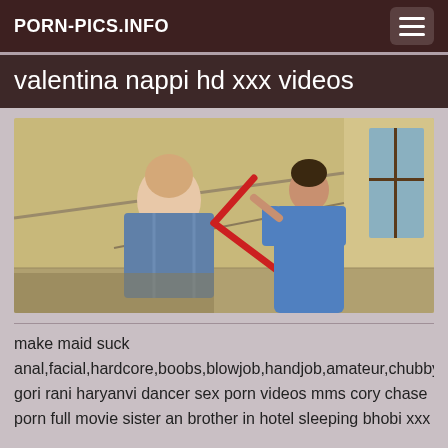PORN-PICS.INFO
valentina nappi hd xxx videos
[Figure (photo): Video thumbnail showing two people in a stairwell, one bald man in a plaid shirt bending forward, one person in a blue dress holding a red mop/broom]
make maid suck
anal,facial,hardcore,boobs,blowjob,handjob,amateur,chubby,h
gori rani haryanvi dancer sex porn videos mms cory chase
porn full movie sister an brother in hotel sleeping bhobi xxx